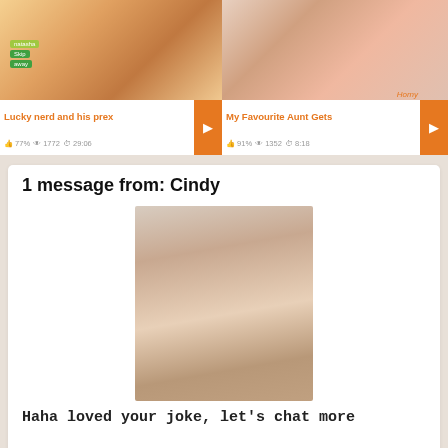[Figure (screenshot): Animated/cartoon thumbnail for video titled Lucky nerd and his prex]
Lucky nerd and his prex
77%  1772  29:06
[Figure (photo): Thumbnail photo for video titled My Favourite Aunt Gets, with Horny label]
My Favourite Aunt Gets
91%  1352  8:18
1 message from: Cindy
[Figure (photo): Woman taking mirror selfie photo]
Haha loved your joke, let's chat more